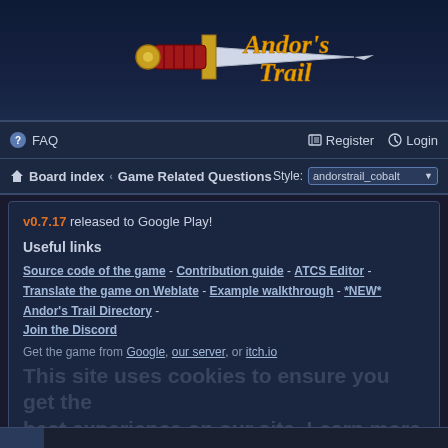[Figure (logo): Andor's Trail game logo — a sword with red handle and golden hilt, with stylized gold text 'Andor's Trail' on a dark blue background]
FAQ   Register   Login
Board index · Game Related Questions   Style: andorstrail_cobalt
v0.7.17 released to Google Play!
Useful links
Source code of the game - Contribution guide - ATCS Editor - Translate the game on Weblate - Example walkthrough - *NEW* Andor's Trail Directory - Join the Discord
Get the game from Google, our server, or itch.io
Number of quests and places
Post Reply   Godit
5 posts • Page 1 of 1